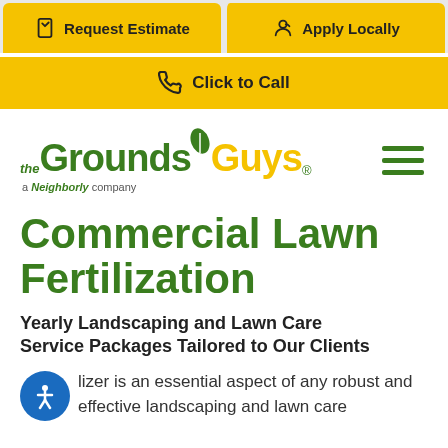[Figure (screenshot): Two yellow call-to-action buttons: 'Request Estimate' with clipboard icon and 'Apply Locally' with location/person icon]
[Figure (screenshot): Yellow 'Click to Call' button with phone icon spanning full width]
[Figure (logo): The Grounds Guys logo — green and yellow text with leaf, tagline 'a Neighborly company']
[Figure (illustration): Hamburger menu icon with three green horizontal lines]
Commercial Lawn Fertilization
Yearly Landscaping and Lawn Care Service Packages Tailored to Our Clients
lizer is an essential aspect of any robust and effective landscaping and lawn care